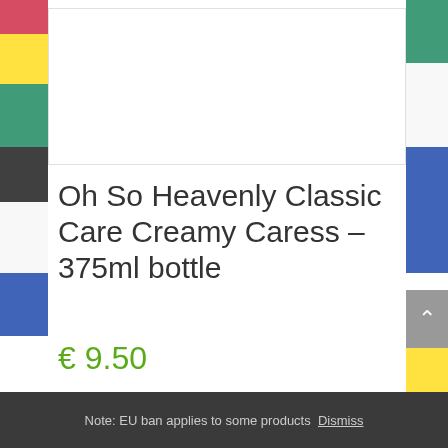[Figure (photo): Product image area (white box with border, product not visible in this view)]
Oh So Heavenly Classic Care Creamy Caress – 375ml bottle
€ 9.50
Note: EU ban applies to some products Dismiss